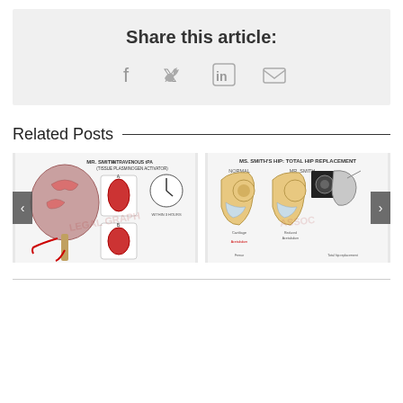Share this article:
[Figure (infographic): Social share icons: Facebook (f), Twitter (bird), LinkedIn (in), Email (envelope)]
Related Posts
[Figure (illustration): Medical illustration: Mr. Smith - Intravenous tPA (Tissue Plasminogen Activator), showing brain, blood vessels, and clot diagrams]
[Figure (illustration): Medical illustration: Ms. Smith's Hip - Total Hip Replacement, showing normal vs. patient hip anatomy and replacement components]